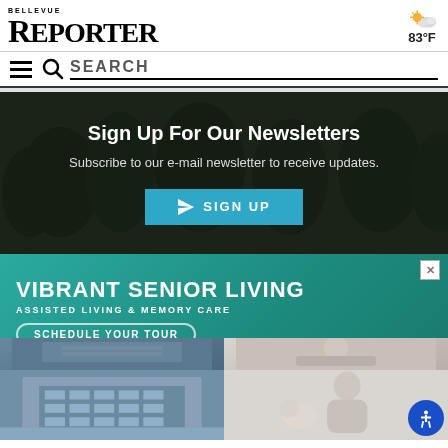BELLEVUE REPORTER — 83°F
SEARCH
[Figure (screenshot): Newsletter sign-up section with dark background showing trees. Text: 'Sign Up For Our Newsletters. Subscribe to our e-mail newsletter to receive updates.' with a SIGN UP button.]
[Figure (infographic): Advertisement for Vibrant Senior Living - Assisted Living & Memory Care. 'SCHEDULE YOUR TOUR' button with photos of building exterior and elderly woman with dog.]